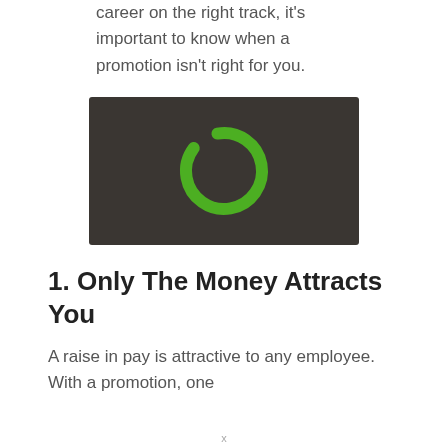career on the right track, it's important to know when a promotion isn't right for you.
[Figure (logo): Dark brown/charcoal rectangular image with a green circular arc/ring icon centered on it, resembling a loading spinner or letter C logo on a dark background.]
1. Only The Money Attracts You
A raise in pay is attractive to any employee. With a promotion, one